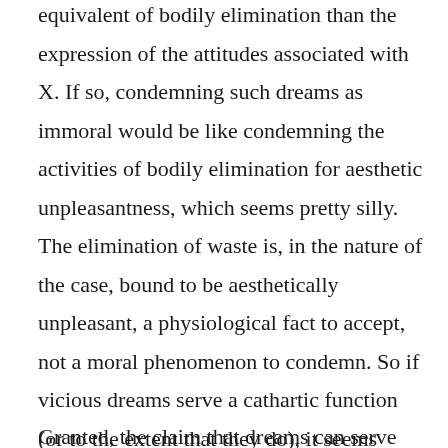equivalent of bodily elimination than the expression of the attitudes associated with X. If so, condemning such dreams as immoral would be like condemning the activities of bodily elimination for aesthetic unpleasantness, which seems pretty silly. The elimination of waste is, in the nature of the case, bound to be aesthetically unpleasant, a physiological fact to accept, not a moral phenomenon to condemn. So if vicious dreams serve a cathartic function (or to the extent that they do), it seems similarly silly to condemn them, no matter how vicious they are, or how often they recur.
Granted, the claim that dreams can serve the ti...